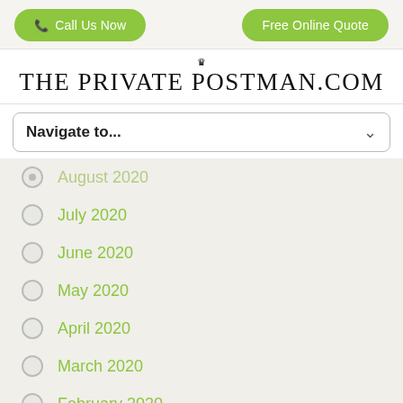[Figure (screenshot): Two green rounded-rectangle buttons: 'Call Us Now' with phone icon on left, 'Free Online Quote' on right]
THE PRIVATE POSTMAN.COM
Navigate to...
August 2020
July 2020
June 2020
May 2020
April 2020
March 2020
February 2020
January 2020
December 2019